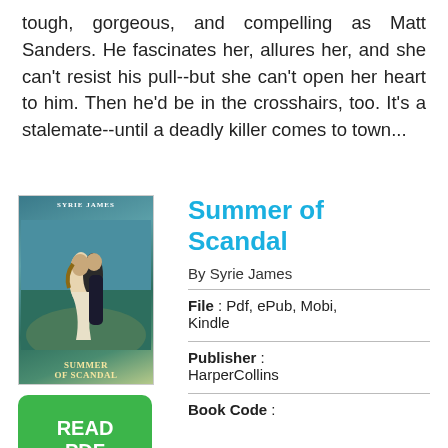tough, gorgeous, and compelling as Matt Sanders. He fascinates her, allures her, and she can't resist his pull--but she can't open her heart to him. Then he'd be in the crosshairs, too. It's a stalemate--until a deadly killer comes to town...
[Figure (illustration): Book cover of 'Summer of Scandal' by Syrie James showing a romantic couple embracing on a coastal cliff with scenic background]
Summer of Scandal
By Syrie James
File : Pdf, ePub, Mobi, Kindle
Publisher : HarperCollins
Book Code :
[Figure (other): Green READ PDF button]